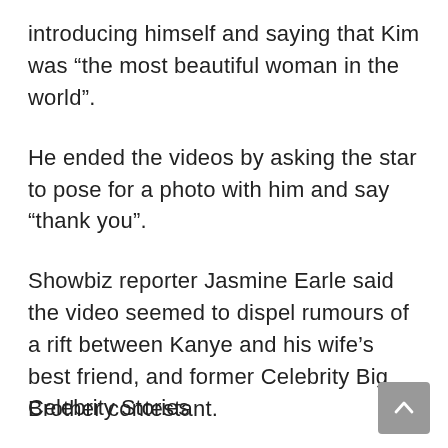introducing himself and saying that Kim was “the most beautiful woman in the world”.
He ended the videos by asking the star to pose for a photo with him and say “thank you”.
Showbiz reporter Jasmine Earle said the video seemed to dispel rumours of a rift between Kanye and his wife’s best friend, and former Celebrity Big Brother contestant.
Celebrity Stories